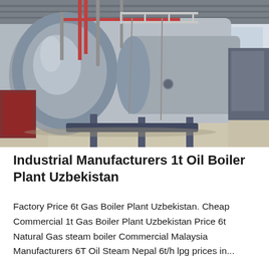[Figure (photo): Industrial boiler plant interior showing large horizontal cylindrical stainless steel steam boilers in a factory/warehouse setting with overhead pipes and red railings]
Industrial Manufacturers 1t Oil Boiler Plant Uzbekistan
Factory Price 6t Gas Boiler Plant Uzbekistan. Cheap Commercial 1t Gas Boiler Plant Uzbekistan Price 6t Natural Gas steam boiler Commercial Malaysia Manufacturers 6T Oil Steam Nepal 6t/h lpg prices in...